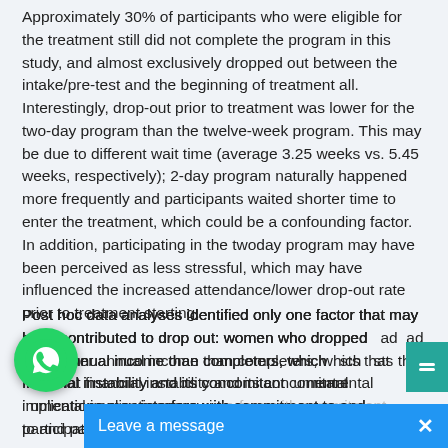Approximately 30% of participants who were eligible for the treatment still did not complete the program in this study, and almost exclusively dropped out between the intake/pre-test and the beginning of treatment all. Interestingly, drop-out prior to treatment was lower for the two-day program than the twelve-week program. This may be due to different wait time (average 3.25 weeks vs. 5.45 weeks, respectively); 2-day program naturally happened more frequently and participants waited shorter time to enter the treatment, which could be a confounding factor. In addition, participating in the twoday program may have been perceived as less stressful, which may have influenced the increased attendance/lower drop-out rate prior to treatment starting.
Post hoc data analyses identified only one factor that may have contributed to drop out: women who dropped [out h]ad lower annual income than completers, which [sugge]sts that financial instability and its concomitant [inst]rumental implications may interfere with commitment to and participation in the treatm[ent]...